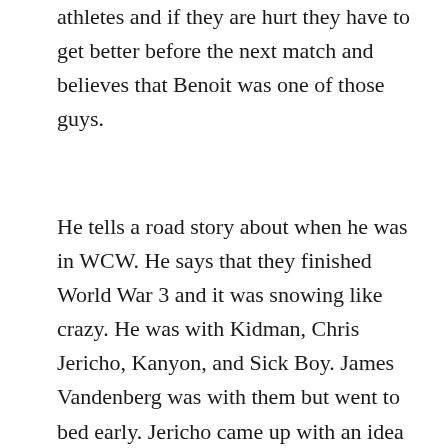athletes and if they are hurt they have to get better before the next match and believes that Benoit was one of those guys.
He tells a road story about when he was in WCW. He says that they finished World War 3 and it was snowing like crazy. He was with Kidman, Chris Jericho, Kanyon, and Sick Boy. James Vandenberg was with them but went to bed early. Jericho came up with an idea to scare Vanderberg, who was passed out drunk. They came into the room with huge snowballs and planned on Kanyon turning on the light so he knew who was doing it but the light never worked and they hit him so Vandenberg took the beer bottles and started throwing them. Glacier said that Vanderberg took everything in stride and never let things bother him.